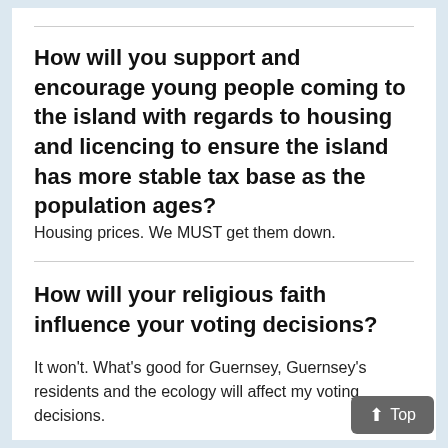How will you support and encourage young people coming to the island with regards to housing and licencing to ensure the island has more stable tax base as the population ages?
Housing prices. We MUST get them down.
How will your religious faith influence your voting decisions?
It won't. What's good for Guernsey, Guernsey's residents and the ecology will affect my voting decisions.